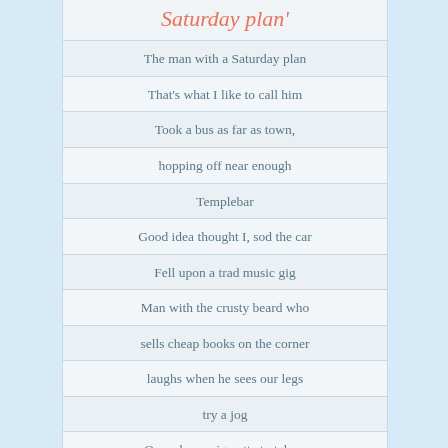Saturday plan'
The man with a Saturday plan
That's what I like to call him
Took a bus as far as town,
hopping off near enough
Templebar
Good idea thought I, sod the car
Fell upon a trad music gig
Man with the crusty beard who
sells cheap books on the corner
laughs when he sees our legs
try a jog
Quench my cigarette to take a
closer look
What does dad do but buy me a
Leonard Cohen book
Ate at the bank bar, catching